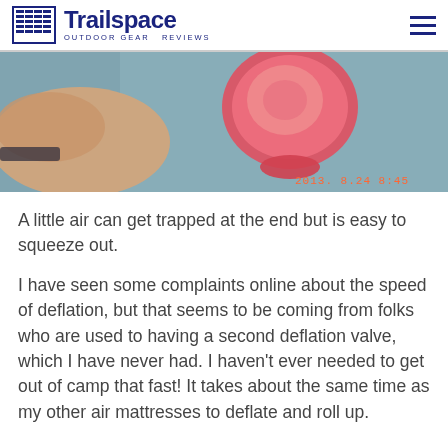Trailspace OUTDOOR GEAR REVIEWS
[Figure (photo): Close-up photo of a hand holding a red valve/cap on a gray air mattress surface. A digital timestamp reads 2013. 8.24  8:45 in orange in the lower right corner.]
A little air can get trapped at the end but is easy to squeeze out.
I have seen some complaints online about the speed of deflation, but that seems to be coming from folks who are used to having a second deflation valve, which I have never had. I haven't ever needed to get out of camp that fast! It takes about the same time as my other air mattresses to deflate and roll up.